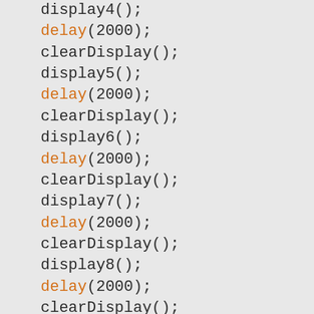display4();
delay(2000);
clearDisplay();
display5();
delay(2000);
clearDisplay();
display6();
delay(2000);
clearDisplay();
display7();
delay(2000);
clearDisplay();
display8();
delay(2000);
clearDisplay();